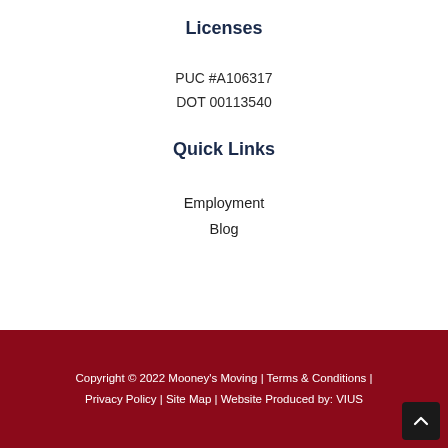Licenses
PUC #A106317
DOT 00113540
Quick Links
Employment
Blog
Copyright © 2022 Mooney's Moving | Terms & Conditions | Privacy Policy | Site Map | Website Produced by: VIUS